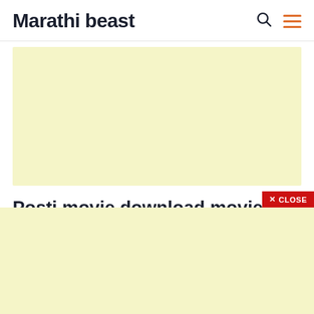Marathi beast
[Figure (other): Advertisement banner placeholder (light yellow background)]
Posti movie download moviesda
This moviesda website  recently
[Figure (other): Close button overlay — red button with X CLOSE text]
[Figure (other): Advertisement banner placeholder at bottom (light yellow background)]